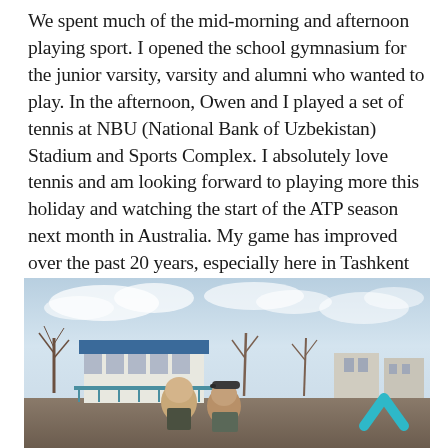We spent much of the mid-morning and afternoon playing sport. I opened the school gymnasium for the junior varsity, varsity and alumni who wanted to play. In the afternoon, Owen and I played a set of tennis at NBU (National Bank of Uzbekistan) Stadium and Sports Complex. I absolutely love tennis and am looking forward to playing more this holiday and watching the start of the ATP season next month in Australia. My game has improved over the past 20 years, especially here in Tashkent playing with coach Igor.
[Figure (photo): Outdoor photo showing two men standing at what appears to be a tennis complex or sports facility. Behind them is a building with a blue roof, bare winter trees, and a partly cloudy sky. There is a teal/cyan upward-pointing chevron arrow in the lower-right area of the photo.]